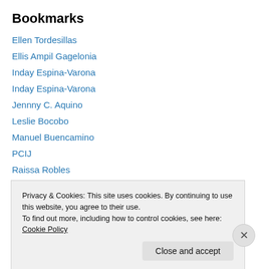Bookmarks
Ellen Tordesillas
Ellis Ampil Gagelonia
Inday Espina-Varona
Inday Espina-Varona
Jennny C. Aquino
Leslie Bocobo
Manuel Buencamino
PCIJ
Raissa Robles
Rj Marmol
The Ivory Hut
Vera Files
Privacy & Cookies: This site uses cookies. By continuing to use this website, you agree to their use.
To find out more, including how to control cookies, see here: Cookie Policy
Close and accept